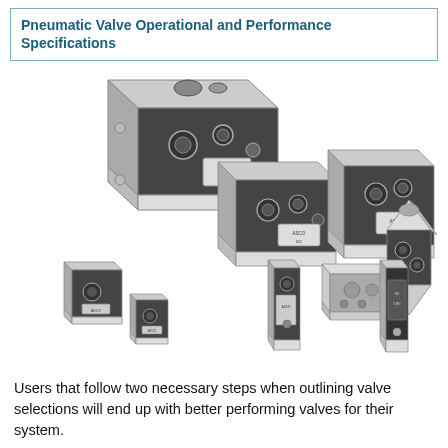Pneumatic Valve Operational and Performance Specifications
[Figure (photo): A collection of approximately ten pneumatic valves of various sizes and configurations shown in an isometric/perspective arrangement. The valves appear to be industrial directional control valves with black and gray metal bodies, showing porting faces, mounting holes, and various actuator types. Brands appear to include ASCO or similar. The valves range from large multi-port manifold blocks to small single valves.]
Users that follow two necessary steps when outlining valve selections will end up with better performing valves for their system.